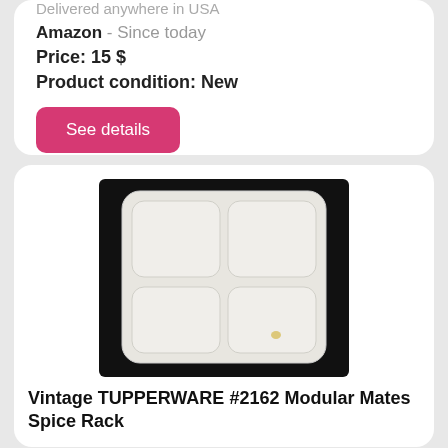Delivered anywhere in USA
Amazon  - Since today
Price: 15 $
Product condition: New
See details
[Figure (photo): White plastic divided tray/plate with 4 square compartments arranged in a 2x2 grid, photographed against a black background. Small yellow mark visible in bottom-right compartment.]
Vintage TUPPERWARE #2162 Modular Mates Spice Rack